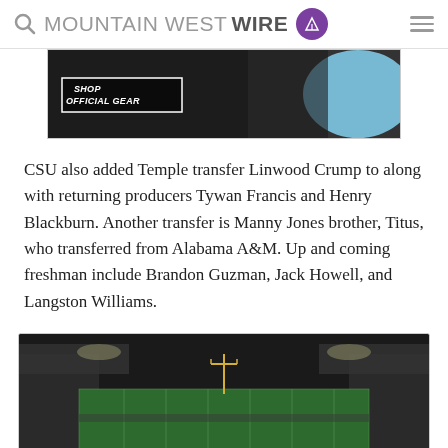MOUNTAIN WEST WIRE
[Figure (photo): Advertisement banner for official gear showing sports apparel (black and blue/light blue jersey) on dark background with 'SHOP OFFICIAL GEAR' button]
CSU also added Temple transfer Linwood Crump to along with returning producers Tywan Francis and Henry Blackburn. Another transfer is Manny Jones brother, Titus, who transferred from Alabama A&M. Up and coming freshman include Brandon Guzman, Jack Howell, and Langston Williams.
[Figure (photo): Night-time aerial view of Colorado State football stadium with green field lit up, empty grey stands visible, 'STATE' written in white in the end zone]